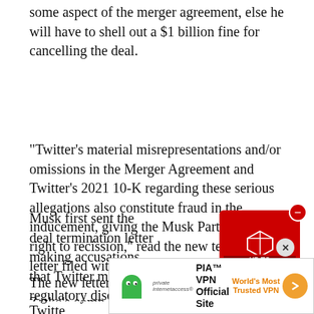some aspect of the merger agreement, else he will have to shell out a $1 billion fine for cancelling the deal.
"Twitter's material misrepresentations and/or omissions in the Merger Agreement and Twitter's 2021 10-K regarding these serious allegations also constitute fraud in the inducement, giving the Musk Parties the right to recission," read the new termination letter filed with the US SEC late on Monday.
Musk first sent the deal termination letter making accusations that Twitter misled the regulatory disclosures.
[Figure (infographic): Gaming advertisement overlay showing a red box with a white cube icon, text 'UP TO 70% OFF' in yellow and white on red background, with a red minus/close button in top right corner]
The new letter has the same charges, adding Zatko's comp...
[Figure (infographic): PIA VPN advertisement banner with Private Internet Access logo (green ghost icon), text 'PIA™ VPN Official Site' in bold, 'World's Most Trusted VPN' in orange, and an orange circular arrow button. X close button above.]
Twitte...